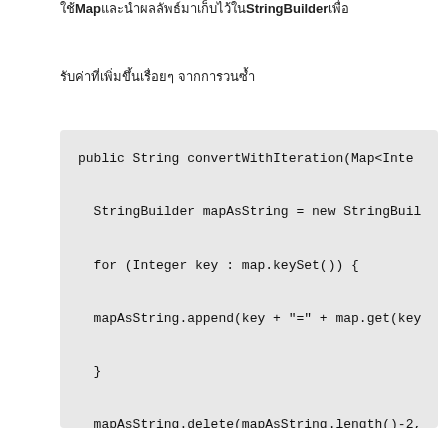ใช้ Map และนำผลลัพธ์มาเก็บไว้ใน StringBuilder เพื่อ
รับค่าที่เพิ่มขึ้นเรื่อยๆ จากการวนซ้ำ
[Figure (screenshot): Java code block showing convertWithIteration method using StringBuilder and Map iteration]